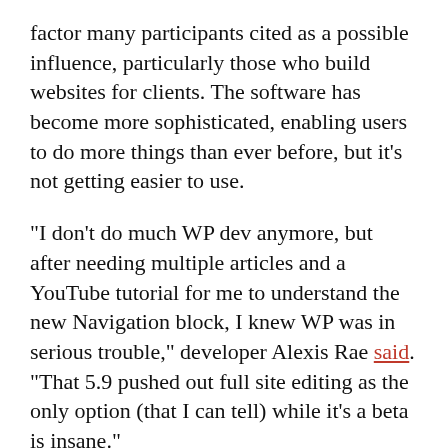factor many participants cited as a possible influence, particularly those who build websites for clients. The software has become more sophisticated, enabling users to do more things than ever before, but it’s not getting easier to use.
“I don’t do much WP dev anymore, but after needing multiple articles and a YouTube tutorial for me to understand the new Navigation block, I knew WP was in serious trouble,” developer Alexis Rae said. “That 5.9 pushed out full site editing as the only option (that I can tell) while it’s a beta is insane.”
Multiple participants in the discussions on Facebook and Twitter said they have recently been building some of their clients’ sites with other technologies